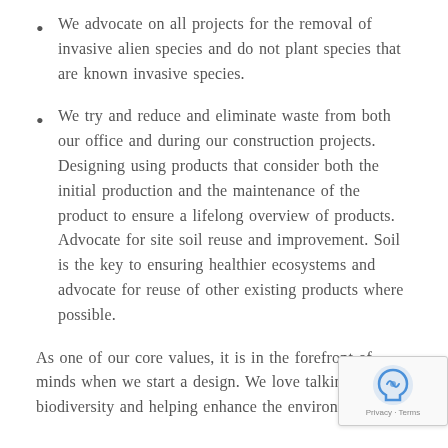We advocate on all projects for the removal of invasive alien species and do not plant species that are known invasive species.
We try and reduce and eliminate waste from both our office and during our construction projects. Designing using products that consider both the initial production and the maintenance of the product to ensure a lifelong overview of products. Advocate for site soil reuse and improvement. Soil is the key to ensuring healthier ecosystems and advocate for reuse of other existing products where possible.
As one of our core values, it is in the forefront of minds when we start a design. We love talking about biodiversity and helping enhance the environment. Feel